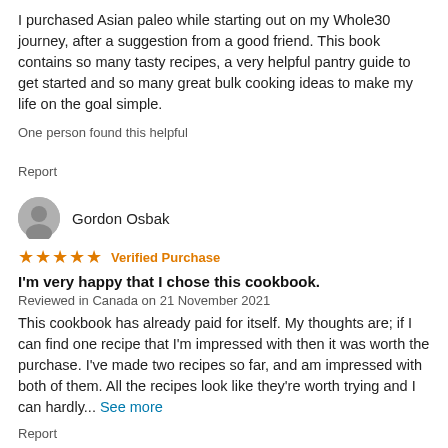I purchased Asian paleo while starting out on my Whole30 journey, after a suggestion from a good friend. This book contains so many tasty recipes, a very helpful pantry guide to get started and so many great bulk cooking ideas to make my life on the goal simple.
One person found this helpful
Report
Gordon Osbak
★★★★★ Verified Purchase
I'm very happy that I chose this cookbook.
Reviewed in Canada on 21 November 2021
This cookbook has already paid for itself. My thoughts are; if I can find one recipe that I'm impressed with then it was worth the purchase. I've made two recipes so far, and am impressed with both of them. All the recipes look like they're worth trying and I can hardly... See more
Report